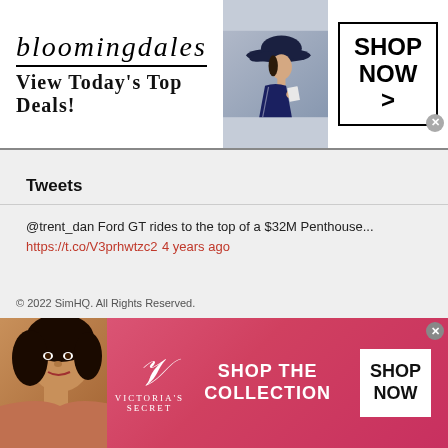[Figure (screenshot): Bloomingdale's advertisement banner with logo, tagline 'View Today's Top Deals!', model in hat, and 'SHOP NOW >' button]
Tweets
@trent_dan Ford GT rides to the top of a $32M Penthouse... https://t.co/V3prhwtzc2 4 years ago
More Summer Sales – Less Money In Your Wallet https://t.co/k3Mlbbdryy https://t.co/lZ7sRRG7u1 5 years ago
© 2022 SimHQ. All Rights Reserved.
[Figure (screenshot): Victoria's Secret advertisement banner with model, logo, 'SHOP THE COLLECTION' text, and 'SHOP NOW' button on pink/red gradient background]